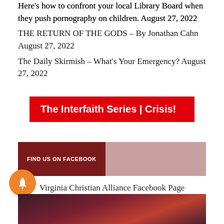Here's how to confront your local Library Board when they push pornography on children. August 27, 2022
THE RETURN OF THE GODS – By Jonathan Cahn August 27, 2022
The Daily Skirmish – What's Your Emergency? August 27, 2022
[Figure (other): Red banner button reading 'The Interfaith Series | Crisis!']
[Figure (other): Facebook widget with dark red left panel labeled 'FIND US ON FACEBOOK' and muted rose right panel]
Virginia Christian Alliance Facebook Page
[Figure (photo): Red and purple dramatic sky photo strip at bottom]